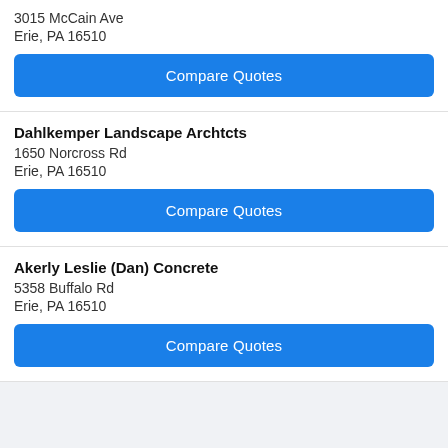3015 McCain Ave
Erie, PA 16510
Compare Quotes
Dahlkemper Landscape Archtcts
1650 Norcross Rd
Erie, PA 16510
Compare Quotes
Akerly Leslie (Dan) Concrete
5358 Buffalo Rd
Erie, PA 16510
Compare Quotes